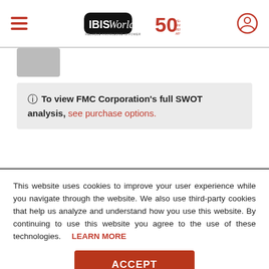IBISWorld 50th Anniversary
[Figure (other): Partially visible gray thumbnail image in upper left of content area]
⓵ To view FMC Corporation's full SWOT analysis, see purchase options.
This website uses cookies to improve your user experience while you navigate through the website. We also use third-party cookies that help us analyze and understand how you use this website. By continuing to use this website you agree to the use of these technologies. LEARN MORE
ACCEPT